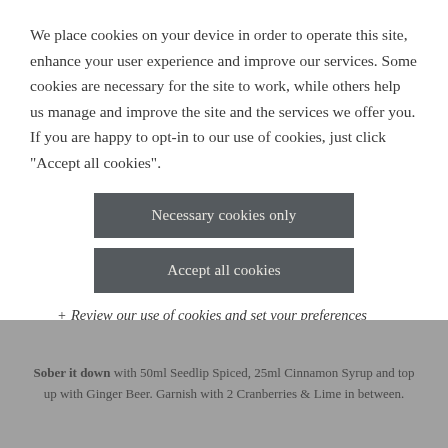We place cookies on your device in order to operate this site, enhance your user experience and improve our services. Some cookies are necessary for the site to work, while others help us manage and improve the site and the services we offer you. If you are happy to opt-in to our use of cookies, just click "Accept all cookies".
Necessary cookies only
Accept all cookies
+ Review our use of cookies and set your preferences
Sober it down with 50ml Seedlip Spiced, 25ml Cinnamon Syrup and top up with Ginger Beer. Garnish with 2 Cranberries & Lime in between.